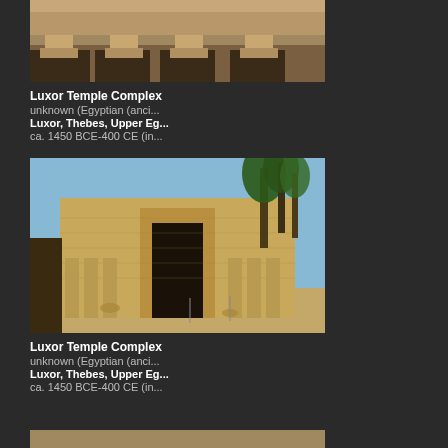[Figure (photo): Photograph of the Luxor Temple Complex showing a row of sphinx statues along an avenue, sandy stone ruins]
Luxor Temple Complex
unknown (Egyptian (anci...
Luxor, Thebes, Upper Eg...
ca. 1450 BCE-400 CE (in...
[Figure (photo): Photograph of the Luxor Temple Complex showing a large mudbrick gateway with columns and palm trees in the background]
Luxor Temple Complex
unknown (Egyptian (anci...
Luxor, Thebes, Upper Eg...
ca. 1450 BCE-400 CE (in...
[Figure (photo): Partial photograph of another view of the Luxor Temple Complex, partially visible at the bottom of the page]